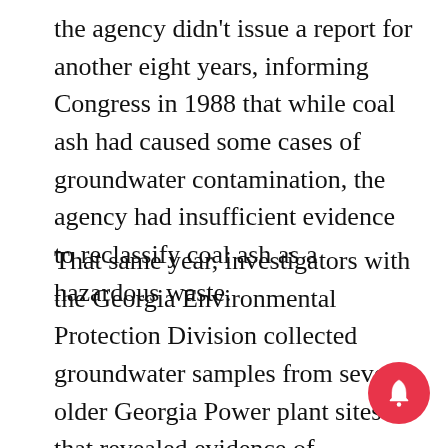the agency didn't issue a report for another eight years, informing Congress in 1988 that while coal ash had caused some cases of groundwater contamination, the agency had insufficient evidence to reclassify coal ash as a hazardous waste.
That same year, investigators with the Georgia Environmental Protection Division collected groundwater samples from several older Georgia Power plant sites that revealed evidence of contamination. Groundwater at Plant McManus in Brunswick contained chromium at levels 16 times higher than Georgia deemed safe for drinking. And at Plant Mitchell in Albany, groundwater contained